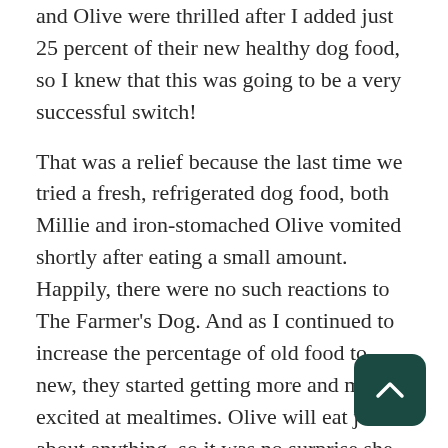and Olive were thrilled after I added just 25 percent of their new healthy dog food, so I knew that this was going to be a very successful switch!
That was a relief because the last time we tried a fresh, refrigerated dog food, both Millie and iron-stomached Olive vomited shortly after eating a small amount. Happily, there were no such reactions to The Farmer's Dog. And as I continued to increase the percentage of old food to new, they started getting more and more excited at mealtimes. Olive will eat just about anything, so it was no surprise she licked her bowl clean. Millie, on the other hand, can be a picky eater, sometimes even skipping a meal if it's not up to her standards. However, we haven't had that problem since introducing the new farm-